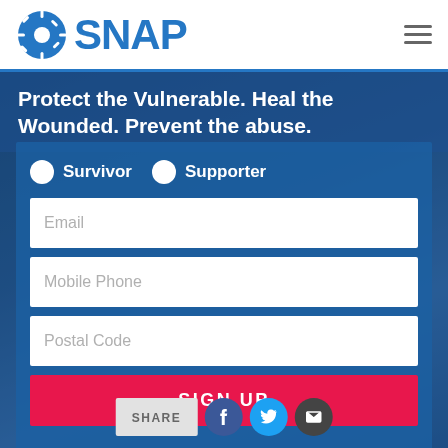[Figure (logo): SNAP organization logo with blue sunburst icon and blue bold SNAP text]
Protect the Vulnerable. Heal the Wounded. Prevent the abuse.
[Figure (screenshot): Web signup form with Survivor/Supporter radio buttons, Email, Mobile Phone, Postal Code fields, a red SIGN UP button, and social share icons (Facebook, Twitter, Email)]